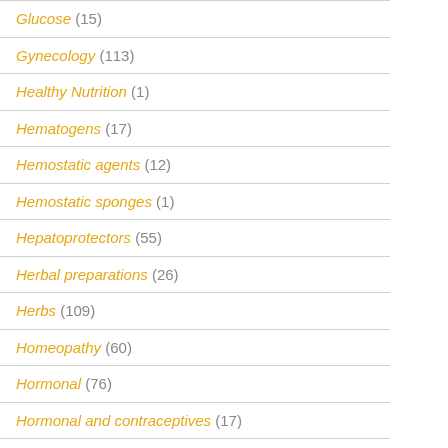Glucose (15)
Gynecology (113)
Healthy Nutrition (1)
Hematogens (17)
Hemostatic agents (12)
Hemostatic sponges (1)
Hepatoprotectors (55)
Herbal preparations (26)
Herbs (109)
Homeopathy (60)
Hormonal (76)
Hormonal and contraceptives (17)